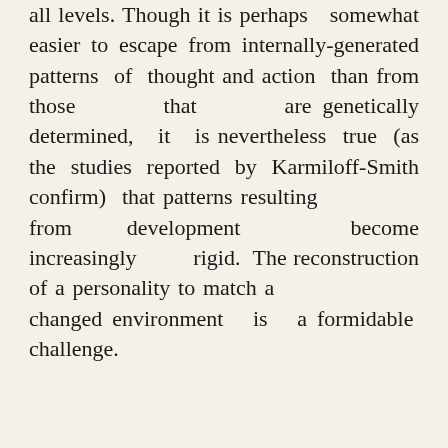all levels. Though it is perhaps somewhat easier to escape from internally-generated patterns of thought and action than from those that are genetically determined, it is nevertheless true (as the studies reported by Karmiloff-Smith confirm) that patterns resulting from development become increasingly rigid. The reconstruction of a personality to match a changed environment is a formidable challenge.